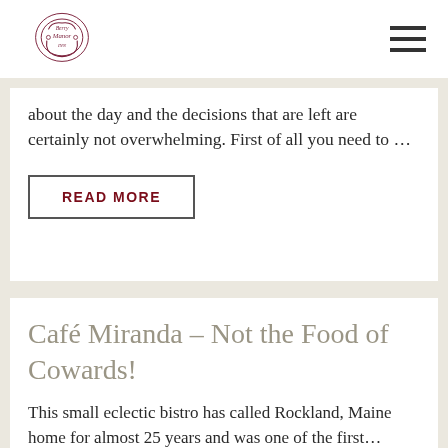Berry Manor Inn
about the day and the decisions that are left are certainly not overwhelming. First of all you need to …
READ MORE
Café Miranda – Not the Food of Cowards!
This small eclectic bistro has called Rockland, Maine home for almost 25 years and was one of the first…